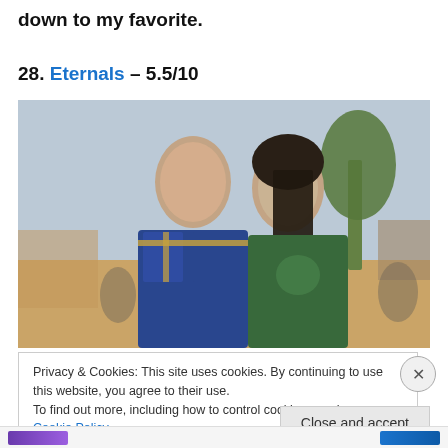down to my favorite.
28. Eternals – 5.5/10
[Figure (photo): Scene from Eternals movie showing two characters in superhero costumes facing each other closely, with palm trees and desert landscape in background.]
Privacy & Cookies: This site uses cookies. By continuing to use this website, you agree to their use.
To find out more, including how to control cookies, see here: Cookie Policy
Close and accept